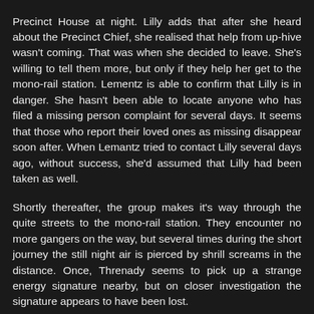Precinct House at night. Lilly adds that after she heard about the Precinct Chief, she realised that help from up-hive wasn't coming. That was when she decided to leave. She's willing to tell them more, but only if they help her get to the mono-rail station. Lementz is able to confirm that Lilly is in danger. She hasn't been able to locate anyone who has filed a missing person complaint for several days. It seems that those who report their loved ones as missing disappear soon after. When Lemantz tried to contact Lilly several days ago, without success, she'd assumed that Lilly had been taken as well.
Shortly thereafter, the group makes it's way through the quite streets to the mono-rail station. They encounter no more gangers on the way, but several times during the short journey the still night air is pierced by shrill screams in the distance. Once, Threnady seems to pick up a strange energy signature nearby, but on closer investigation the signature appears to have been lost.
When the party climbs the gantry to the mono-rail platform, Threnady stops suddenly, her heckles raised. Cadence signals the others to stop. Allowing her consciousness to